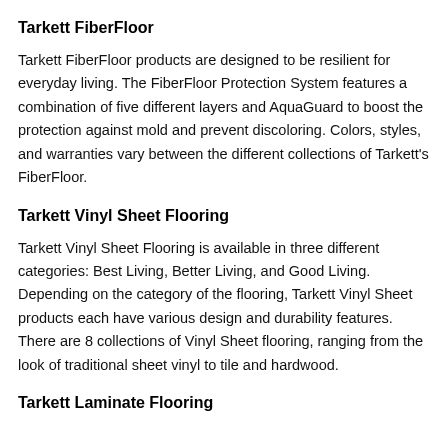Tarkett FiberFloor
Tarkett FiberFloor products are designed to be resilient for everyday living. The FiberFloor Protection System features a combination of five different layers and AquaGuard to boost the protection against mold and prevent discoloring. Colors, styles, and warranties vary between the different collections of Tarkett's FiberFloor.
Tarkett Vinyl Sheet Flooring
Tarkett Vinyl Sheet Flooring is available in three different categories: Best Living, Better Living, and Good Living. Depending on the category of the flooring, Tarkett Vinyl Sheet products each have various design and durability features. There are 8 collections of Vinyl Sheet flooring, ranging from the look of traditional sheet vinyl to tile and hardwood.
Tarkett Laminate Flooring